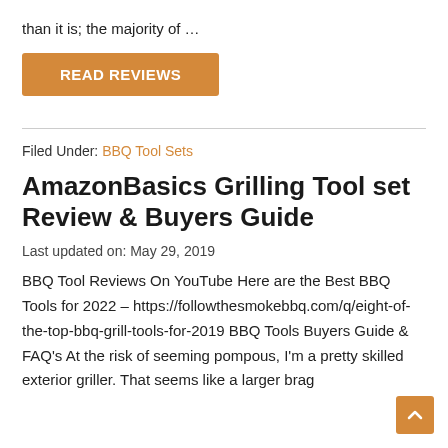than it is; the majority of …
READ REVIEWS
Filed Under: BBQ Tool Sets
AmazonBasics Grilling Tool set Review & Buyers Guide
Last updated on: May 29, 2019
BBQ Tool Reviews On YouTube Here are the Best BBQ Tools for 2022 – https://followthesmokebbq.com/q/eight-of-the-top-bbq-grill-tools-for-2019 BBQ Tools Buyers Guide & FAQ's At the risk of seeming pompous, I'm a pretty skilled exterior griller. That seems like a larger brag